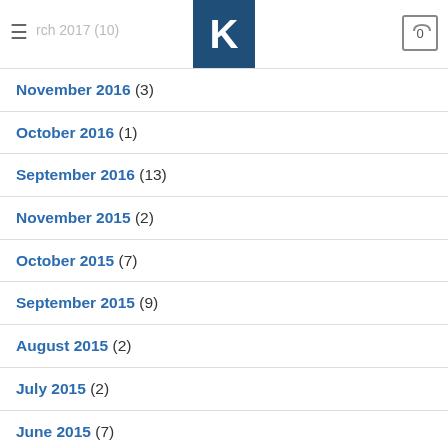≡ rch 2017 (10) [K logo] [cart 0]
November 2016 (3)
October 2016 (1)
September 2016 (13)
November 2015 (2)
October 2015 (7)
September 2015 (9)
August 2015 (2)
July 2015 (2)
June 2015 (7)
May 2015 (13)